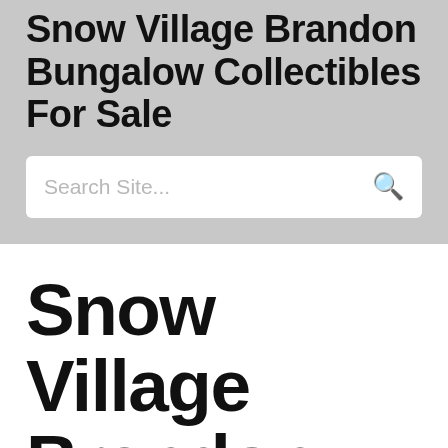Snow Village Brandon Bungalow Collectibles For Sale
Search Site...
Snow Village Brandon